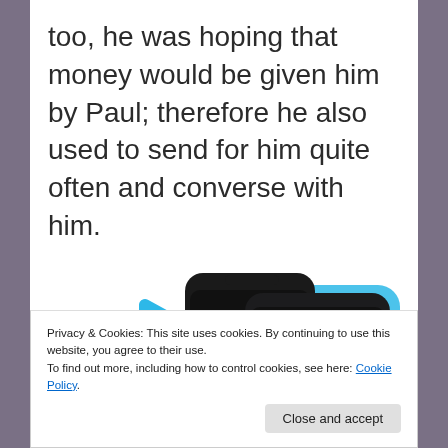too, he was hoping that money would be given him by Paul; therefore he also used to send for him quite often and converse with him.
[Figure (screenshot): Screenshot of a podcast or streaming app showing 'Up Next' queue with 'The Making of Boris Johnson' episode, displayed on two overlapping dark-themed mobile phone screens with blue decorative elements in the background]
Privacy & Cookies: This site uses cookies. By continuing to use this website, you agree to their use.
To find out more, including how to control cookies, see here: Cookie Policy
Close and accept